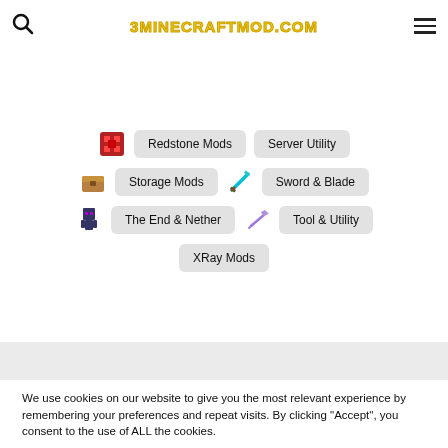3MINECRAFTMOD.COM
Redstone Mods
Server Utility
Storage Mods
Sword & Blade
The End & Nether
Tool & Utility
XRay Mods
We use cookies on our website to give you the most relevant experience by remembering your preferences and repeat visits. By clicking “Accept”, you consent to the use of ALL the cookies.
Do not sell my personal information.
Cookie Settings
Accept